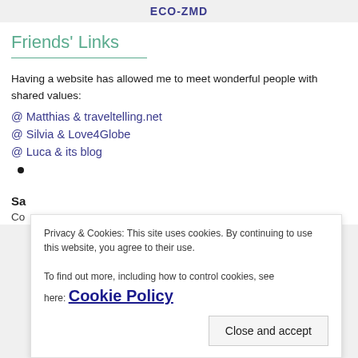ECO-ZMD
Friends' Links
Having a website has allowed me to meet wonderful people with shared values:
@ Matthias & traveltelling.net
@ Silvia & Love4Globe
@ Luca & its blog
Privacy & Cookies: This site uses cookies. By continuing to use this website, you agree to their use. To find out more, including how to control cookies, see here: Cookie Policy
Close and accept